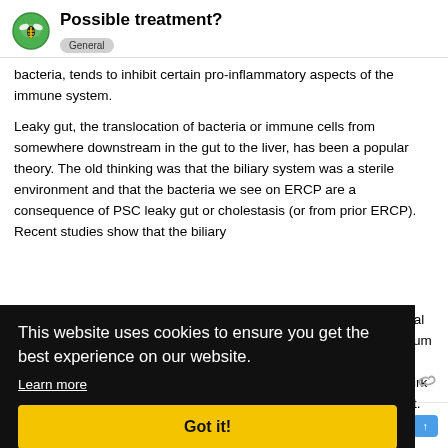Possible treatment? | General
bacteria, tends to inhibit certain pro-inflammatory aspects of the immune system.
Leaky gut, the translocation of bacteria or immune cells from somewhere downstream in the gut to the liver, has been a popular theory. The old thinking was that the biliary system was a sterile environment and that the bacteria we see on ERCP are a consequence of PSC leaky gut or cholestasis (or from prior ERCP). Recent studies show that the biliary [rmal] [enum] [s] [quirk] [gut.]
This website uses cookies to ensure you get the best experience on our website. Learn more
Got it!
BB1